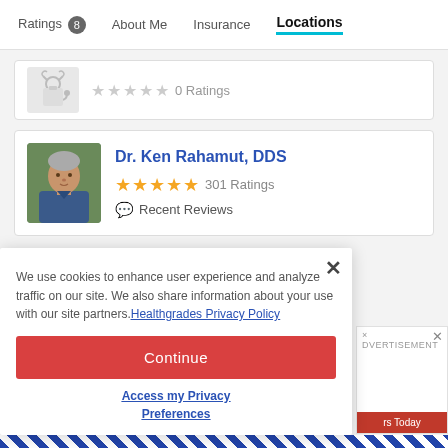Ratings 8  About Me  Insurance  Locations
[Figure (photo): Partial doctor card with stethoscope placeholder icon and 0 Ratings with empty stars]
0 Ratings
Dr. Ken Rahamut, DDS
[Figure (photo): Photo of Dr. Ken Rahamut, DDS - male doctor with grey hair wearing blue scrubs]
301 Ratings
Recent Reviews
We use cookies to enhance user experience and analyze traffic on our site. We also share information about your use with our site partners. Healthgrades Privacy Policy
Continue
Access my Privacy Preferences
ADVERTISEMENT
rs Today